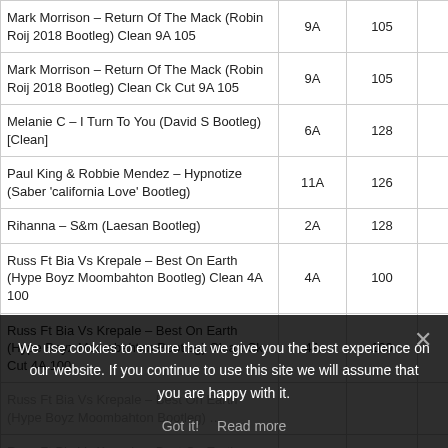| Title | Key | BPM | Duration |
| --- | --- | --- | --- |
| Mark Morrison – Return Of The Mack (Robin Roij 2018 Bootleg) Clean 9A 105 | 9A | 105 | 03:1 |
| Mark Morrison – Return Of The Mack (Robin Roij 2018 Bootleg) Clean Ck Cut 9A 105 | 9A | 105 | 02:0 |
| Melanie C – I Turn To You (David S Bootleg) [Clean] | 6A | 128 | 03:4 |
| Paul King & Robbie Mendez – Hypnotize (Saber 'california Love' Bootleg) | 11A | 126 | 02:5 |
| Rihanna – S&m (Laesan Bootleg) | 2A | 128 | 03:2 |
| Russ Ft Bia Vs Krepale – Best On Earth (Hype Boyz Moombahton Bootleg) Clean 4A 100 | 4A | 100 | 04:1 |
| Russ Ft Bia Vs Krepale – Best On Earth (Hype Boyz Moombahton Bootleg) Clean Ck Cut 4A 100 | 4A | 100 | 02:5 |
| Russ Ft Bia Vs Krepale – Best On Earth (Hype Boyz Moombahton Bootleg) … |  |  |  |
| Russ Ft Bia Vs Krepale – Best On Earth (Hype Boyz Moombahton Bootleg) … |  |  |  |
We use cookies to ensure that we give you the best experience on our website. If you continue to use this site we will assume that you are happy with it.